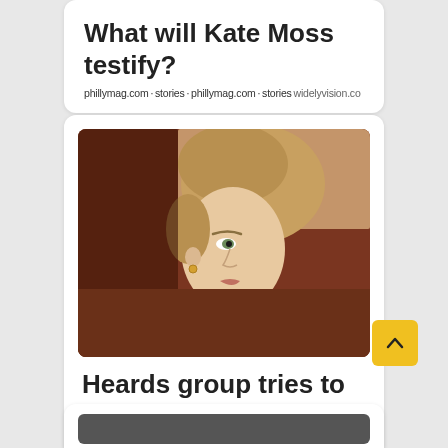What will Kate Moss testify?
phillymag.com · stories · widelyvision.co
[Figure (photo): Side-profile photograph of a blonde woman with an updo hairstyle, wearing a light-colored top, in a courtroom setting]
Heards group tries to takes...
phillymag.com · stories · widelyvision.co